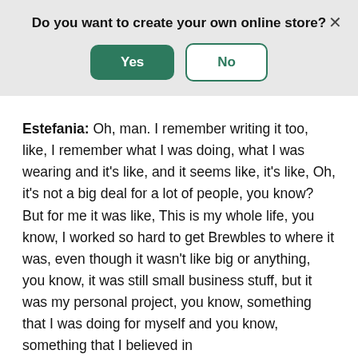Do you want to create your own online store?
[Figure (screenshot): Dialog banner with Yes and No buttons and a close X button]
Estefania: Oh, man. I remember writing it too, like, I remember what I was doing, what I was wearing and it's like, and it seems like, it's like, Oh, it's not a big deal for a lot of people, you know? But for me it was like, This is my whole life, you know, I worked so hard to get Brewbles to where it was, even though it wasn't like big or anything, you know, it was still small business stuff, but it was my personal project, you know, something that I was doing for myself and you know, something that I believed in